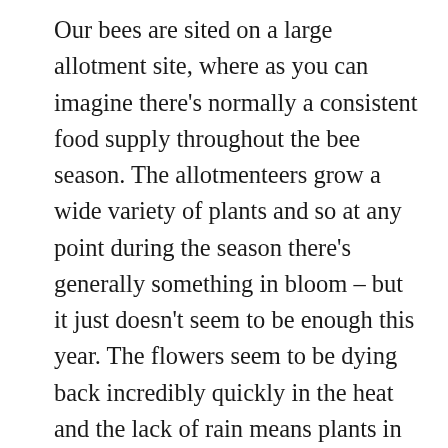Our bees are sited on a large allotment site, where as you can imagine there's normally a consistent food supply throughout the bee season. The allotmenteers grow a wide variety of plants and so at any point during the season there's generally something in bloom – but it just doesn't seem to be enough this year. The flowers seem to be dying back incredibly quickly in the heat and the lack of rain means plants in general are struggling. The apiary itself backs onto the River Irwell, the banks of which at this time of year are normally thick with Himalayan Balsam. This is an invasive species which needs careful management if it isn't to become a real problem – it spreads like wildfire and outcompetes many native species – but has become an important and reliable food source for insects. It has very shallow roots though, so was an early casualty of the drought. The riverbanks are empty